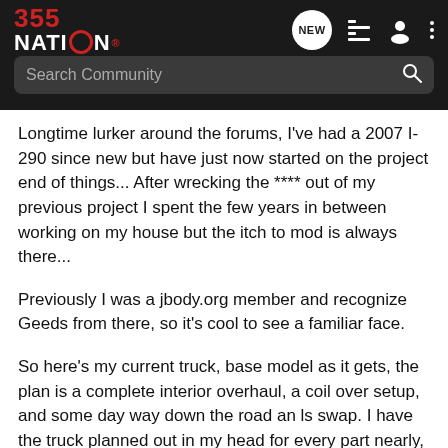355 NATION
Longtime lurker around the forums, I've had a 2007 I-290 since new but have just now started on the project end of things... After wrecking the **** out of my previous project I spent the few years in between working on my house but the itch to mod is always there...
Previously I was a jbody.org member and recognize Geeds from there, so it's cool to see a familiar face.
So here's my current truck, base model as it gets, the plan is a complete interior overhaul, a coil over setup, and some day way down the road an ls swap. I have the truck planned out in my head for every part nearly, but it will be a process.
Current truck